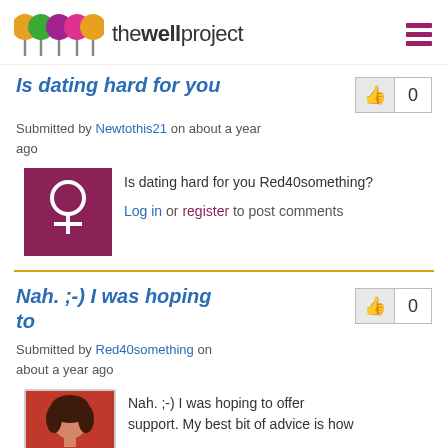thewellproject
Is dating hard for you
Submitted by Newtothis21 on about a year ago
[Figure (illustration): Female gender symbol icon in magenta/purple square]
Is dating hard for you Red40something?
Log in or register to post comments
Nah. ;-) I was hoping to
Submitted by Red40something on about a year ago
[Figure (photo): Profile photo of a woman in a red top]
Nah. ;-) I was hoping to offer support. My best bit of advice is how